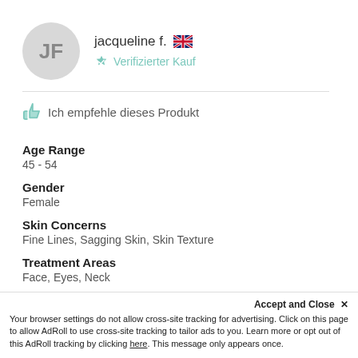[Figure (other): User avatar circle with initials JF in gray]
jacqueline f. 🇬🇧
✔ Verifizierter Kauf
👍 Ich empfehle dieses Produkt
Age Range
45 - 54
Gender
Female
Skin Concerns
Fine Lines, Sagging Skin, Skin Texture
Treatment Areas
Face, Eyes, Neck
Accept and Close ✕
Your browser settings do not allow cross-site tracking for advertising. Click on this page to allow AdRoll to use cross-site tracking to tailor ads to you. Learn more or opt out of this AdRoll tracking by clicking here. This message only appears once.